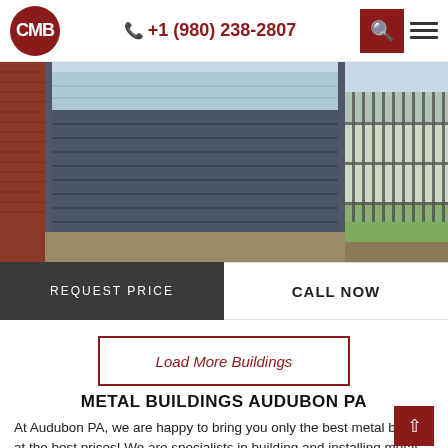CMB logo | +1 (980) 238-2807 | Search | Menu
[Figure (photo): Metal building exterior with dark corrugated metal panels, brick wall on left, glass windows above, green grass, fence on right]
REQUEST PRICE
CALL NOW
Load More Buildings
METAL BUILDINGS AUDUBON PA
At Audubon PA, we are happy to bring you only the best metal barns at the best prices! We are specialists in building and installing metal buildings including barns, carports, lean-